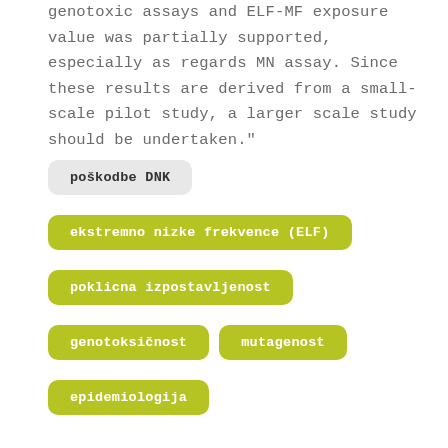genotoxic assays and ELF-MF exposure value was partially supported, especially as regards MN assay. Since these results are derived from a small-scale pilot study, a larger scale study should be undertaken."
poškodbe DNK
ekstremno nizke frekvence (ELF)
poklicna izpostavljenost
genotoksičnost
mutagenost
epidemiologija